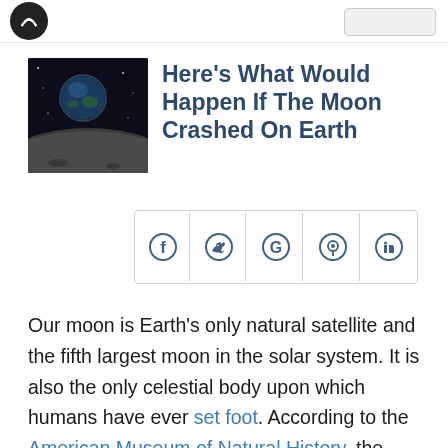[Figure (photo): Thumbnail photo showing the moon surface in foreground and Earth in the background against a dark sky.]
Here's What Would Happen If The Moon Crashed On Earth
[Figure (infographic): Social share buttons bar with Facebook, Twitter, Google, Pinterest, and LinkedIn icons.]
Our moon is Earth's only natural satellite and the fifth largest moon in the solar system. It is also the only celestial body upon which humans have ever set foot. According to the American Museum of Natural History, the moon was likely